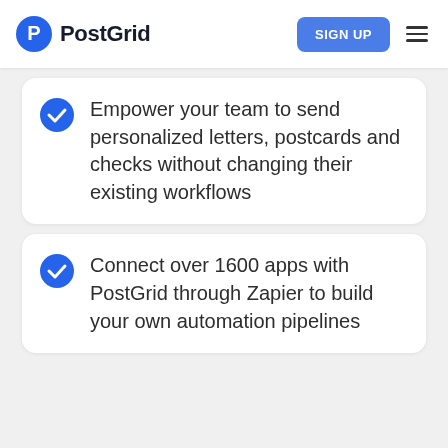[Figure (logo): PostGrid logo with blue circle P icon and bold PostGrid text]
Empower your team to send personalized letters, postcards and checks without changing their existing workflows
Connect over 1600 apps with PostGrid through Zapier to build your own automation pipelines